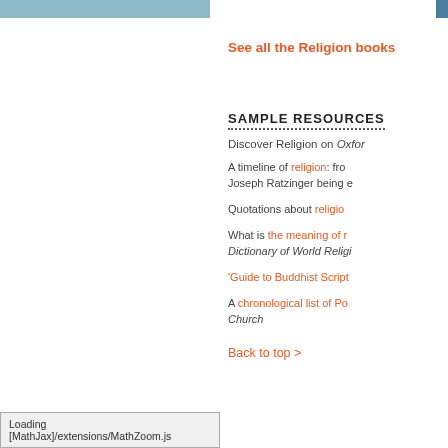See all the Religion books
SAMPLE RESOURCES
Discover Religion on Oxford...
A timeline of religion: from... Joseph Ratzinger being e...
Quotations about religio...
What is the meaning of r... Dictionary of World Religi...
'Guide to Buddhist Script...
A chronological list of Po... Church
Back to top >
Loading [MathJax]/extensions/MathZoom.js